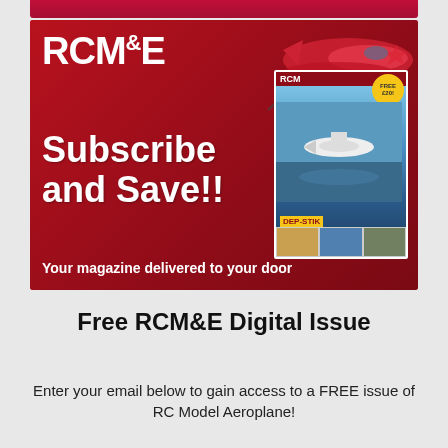[Figure (illustration): RCM&E magazine subscription advertisement with red background. Large white bold text reads 'RCM&E' logo at top left, 'Subscribe and Save!!' in large white bold text in the middle left, and 'Your magazine delivered to your door' at the bottom. A magazine cover is shown on the right side of the ad.]
Free RCM&E Digital Issue
Enter your email below to gain access to a FREE issue of RC Model Aeroplane!